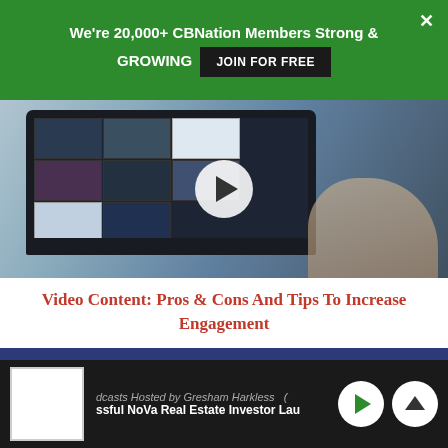We're 20,000+ CBNation Members Strong & GROWING  JOIN FOR FREE
[Figure (screenshot): Screenshot of a laptop displaying a video editing or social media management interface, with a person's hands visible. A white circular play button overlay is centered on the image.]
Video Content: Pros & Cons And Tips To Increase Engagement
Related Articles
dcasts Hosted by Gresham Harkless  ssful NoVa Real Estate Investor Lau